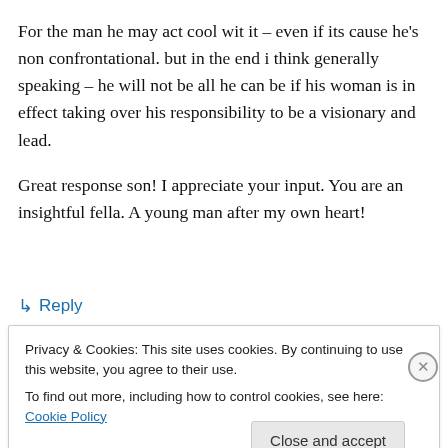For the man he may act cool wit it – even if its cause he's non confrontational. but in the end i think generally speaking – he will not be all he can be if his woman is in effect taking over his responsibility to be a visionary and lead.
Great response son! I appreciate your input. You are an insightful fella. A young man after my own heart!
↳ Reply
Privacy & Cookies: This site uses cookies. By continuing to use this website, you agree to their use. To find out more, including how to control cookies, see here: Cookie Policy